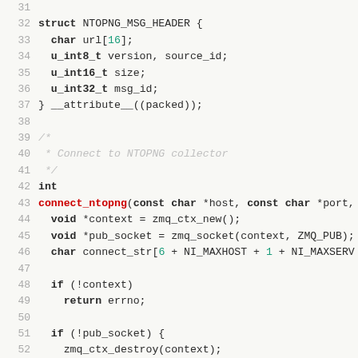[Figure (screenshot): Source code listing lines 31-53 showing a C struct definition NTOPNG_MSG_HEADER and a connect_ntopng function with ZMQ socket setup]